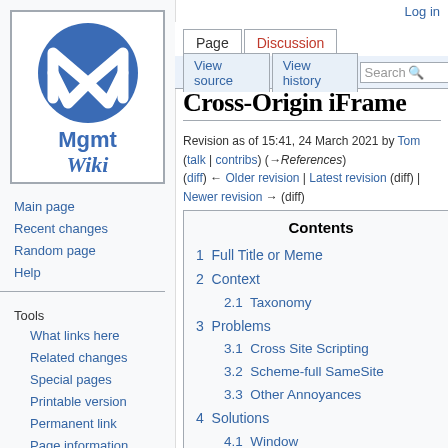[Figure (logo): Mgmt Wiki logo with blue oval M/W emblem]
Main page
Recent changes
Random page
Help
Tools
What links here
Related changes
Special pages
Printable version
Permanent link
Page information
Sidebar Links
back to tomjones
Log in
Cross-Origin iFrame
Revision as of 15:41, 24 March 2021 by Tom (talk | contribs) (→References)
(diff) ← Older revision | Latest revision (diff) | Newer revision → (diff)
| Contents |
| --- |
| 1  Full Title or Meme |
| 2  Context |
| 2.1  Taxonomy |
| 3  Problems |
| 3.1  Cross Site Scripting |
| 3.2  Scheme-full SameSite |
| 3.3  Other Annoyances |
| 4  Solutions |
| 4.1  Window |